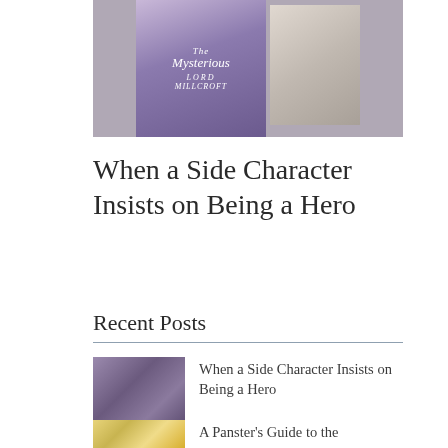[Figure (photo): Two book covers displayed side by side. Left cover shows a purple/lavender toned romance novel titled 'The Mysterious Lord Millcroft'. Right cover is partially visible with lighter tones.]
When a Side Character Insists on Being a Hero
Recent Posts
[Figure (photo): Small thumbnail image of two book covers similar to the main hero image above.]
When a Side Character Insists on Being a Hero
[Figure (photo): Small thumbnail image showing a yellow/gold colored book cover.]
A Panster's Guide to the